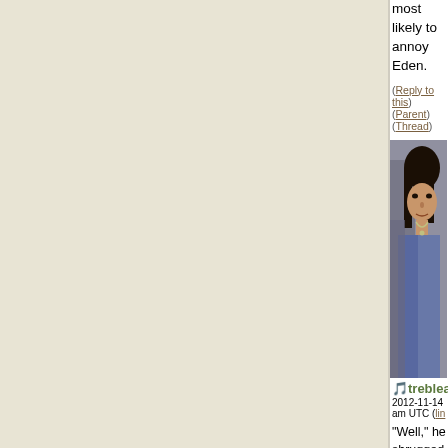most likely to annoy Eden.
(Reply to this)
(Parent) (Thread)
[Figure (photo): Avatar photo of a young man with dark hair, wearing a blue/grey jacket with a necklace, partially obscured]
treblea
2012-11-14 am UTC (lin
"Well," he shrugged. our instru it's pretty sort of... f your way through a If that ma sense. A c listens, an drummer o have the i